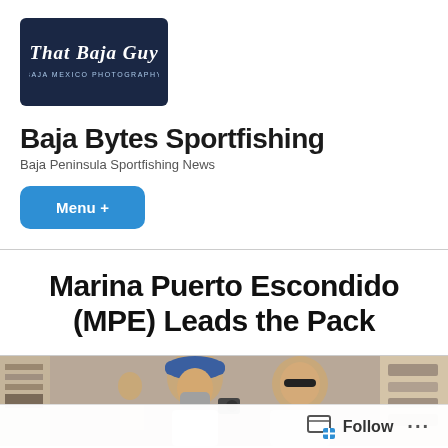[Figure (logo): That Baja Guy logo — dark navy blue rectangle with white cursive script text reading 'That Baja Guy' and small subtitle text below]
Baja Bytes Sportfishing
Baja Peninsula Sportfishing News
Menu +
Marina Puerto Escondido (MPE) Leads the Pack
[Figure (photo): Two men outdoors, one wearing a blue hat and face mask, the other in sunglasses and grey shirt, photographing or filming; shelves and merchandise visible in background]
Follow ...